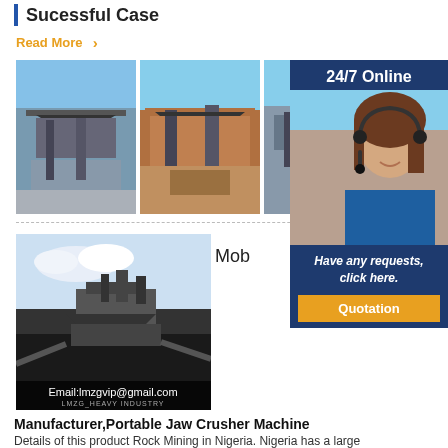Sucessful Case
Read More ›
[Figure (photo): Industrial quarry/crushing plant photo 1]
[Figure (photo): Industrial quarry/crushing plant photo 2]
[Figure (photo): Industrial quarry/crushing plant photo 3 (partially covered by side panel)]
[Figure (infographic): 24/7 Online side panel with customer service representative, 'Have any requests, click here.' and Quotation button]
[Figure (photo): Portable Jaw Crusher Machine at mining site, with email overlay: Email:lmzgvip@gmail.com and LMZG_HEAVY INDUSTRY watermark]
Mob
Manufacturer,Portable Jaw Crusher Machine
Details of this product Rock Mining in Nigeria. Nigeria has a large